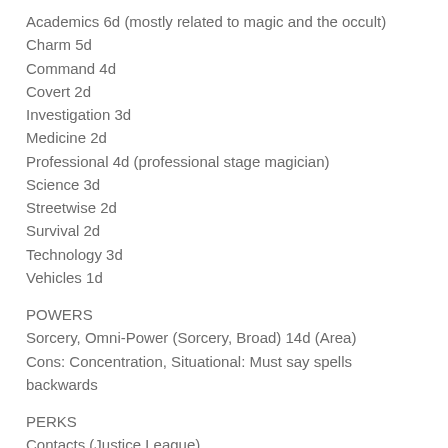Academics 6d (mostly related to magic and the occult)
Charm 5d
Command 4d
Covert 2d
Investigation 3d
Medicine 2d
Professional 4d (professional stage magician)
Science 3d
Streetwise 2d
Survival 2d
Technology 3d
Vehicles 1d
POWERS
Sorcery, Omni-Power (Sorcery, Broad) 14d (Area)
Cons: Concentration, Situational: Must say spells backwards
PERKS
Contacts (Justice League)
Fame
Wealth